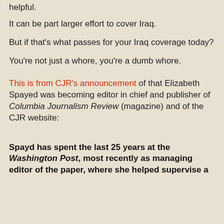helpful.
It can be part larger effort to cover Iraq.
But if that's what passes for your Iraq coverage today?
You're not just a whore, you're a dumb whore.
This is from CJR's announcement of that Elizabeth Spayed was becoming editor in chief and publisher of Columbia Journalism Review (magazine) and of the CJR website:
Spayd has spent the last 25 years at the Washington Post, most recently as managing editor of the paper, where she helped supervise a